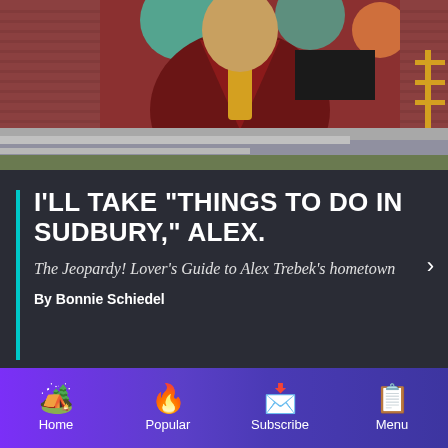[Figure (photo): Photograph of a large outdoor mural on a brick building wall depicting a man in a dark suit with yellow tie, with a street and parking lot visible in the foreground]
I'LL TAKE "THINGS TO DO IN SUDBURY," ALEX.
The Jeopardy! Lover's Guide to Alex Trebek's hometown
By Bonnie Schiedel
Home | Popular | Subscribe | Menu